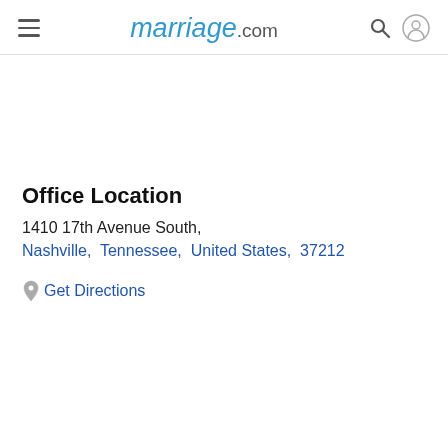marriage.com
Office Location
1410 17th Avenue South,
Nashville,  Tennessee,  United States,  37212
Get Directions